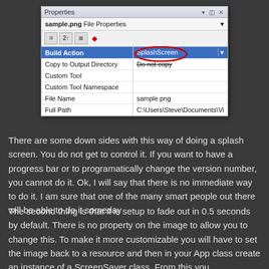[Figure (screenshot): Visual Studio Properties panel showing sample.png File Properties with Build Action set to SplashScreen (highlighted in red circle), Copy to Output Directory: Do not copy, Custom Tool, Custom Tool Namespace, File Name: sample.png, Full Path: C:\Users\Steve\Documents\Vi]
There are some down sides with this way of doing a splash screen. You do not get to control it. If you want to have a progress bar or to programatically change the version number, you cannot do it. Ok, I will say that there is no immediate way to do it. I am sure that one of the many smart people out there will be able to do it someday
The second thing is that it is setup to fade out in 0.5 seconds by default. There is no property on the image to allow you to change this. To make it more customizable you will have to set the image back to a resource and then in your App class create an instance of a ScreenSaver class. From this you